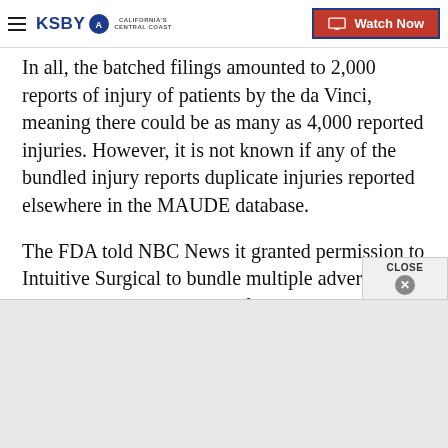KSBY California's Central Coast | Watch Now
In all, the batched filings amounted to 2,000 reports of injury of patients by the da Vinci, meaning there could be as many as 4,000 reported injuries. However, it is not known if any of the bundled injury reports duplicate injuries reported elsewhere in the MAUDE database.
The FDA told NBC News it granted permission to Intuitive Surgical to bundle multiple adverse events that are the subject of lawsuits into a single filing.
The FDA uses the database as a key tripwire to spot problems with medical devices, but it has